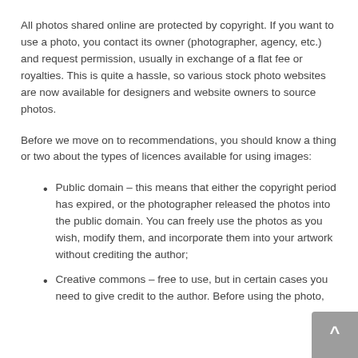All photos shared online are protected by copyright. If you want to use a photo, you contact its owner (photographer, agency, etc.) and request permission, usually in exchange of a flat fee or royalties. This is quite a hassle, so various stock photo websites are now available for designers and website owners to source photos.
Before we move on to recommendations, you should know a thing or two about the types of licences available for using images:
Public domain – this means that either the copyright period has expired, or the photographer released the photos into the public domain. You can freely use the photos as you wish, modify them, and incorporate them into your artwork without crediting the author;
Creative commons – free to use, but in certain cases you need to give credit to the author. Before using the photo, check for the licence type on the